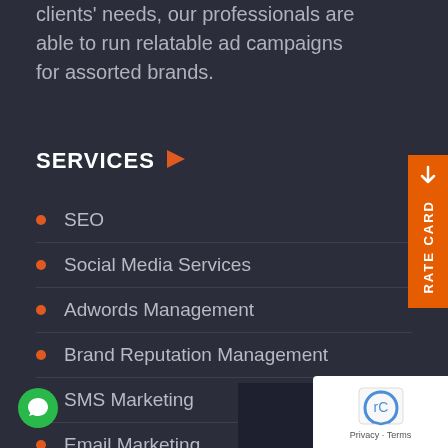clients' needs, our professionals are able to run relatable ad campaigns for assorted brands.
SERVICES
SEO
Social Media Services
Adwords Management
Brand Reputation Management
SMS Marketing
Email Marketing
Web Development Services